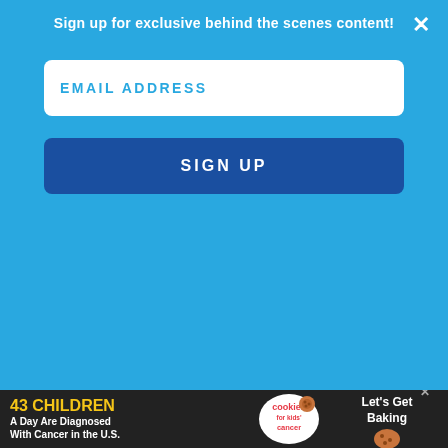Sign up for exclusive behind the scenes content!
EMAIL ADDRESS
SIGN UP
[Figure (photo): Background photo showing decorative moss/broccoli-filled letter shapes (appears to be letters like S, O, T) on light blue frames against a white background]
43 CHILDREN A Day Are Diagnosed With Cancer in the U.S.
cookies for kids' cancer
Let's Get Baking